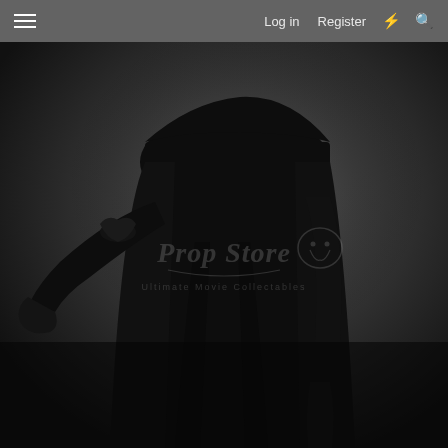≡   Log in   Register   ⚡   🔍
[Figure (photo): Black and white photograph of a dark figure wearing a long black robe or coat with long gloves, photographed against a grey background. The image has a Prop Store watermark overlay reading 'Prop Store - Ultimate Movie Collectables'.]